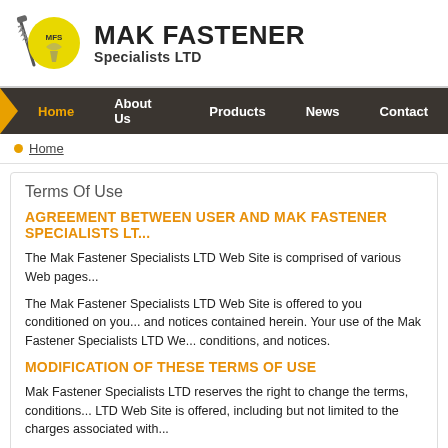[Figure (logo): MAK Fastener Specialists LTD logo with yellow circular emblem and screw/tool graphic, beside company name text]
MAK FASTENER Specialists LTD
Home | About Us | Products | News | Contact
Home
Terms Of Use
AGREEMENT BETWEEN USER AND Mak Fastener Specialists LTD
The Mak Fastener Specialists LTD Web Site is comprised of various Web pages...
The Mak Fastener Specialists LTD Web Site is offered to you conditioned on your acceptance without modification of the terms, conditions, and notices contained herein. Your use of the Mak Fastener Specialists LTD Web Site constitutes your agreement to all such terms, conditions, and notices.
MODIFICATION OF THESE TERMS OF USE
Mak Fastener Specialists LTD reserves the right to change the terms, conditions, and notices under which the Mak Fastener Specialists LTD Web Site is offered, including but not limited to the charges associated with the use of the Mak Fastener Specialists LTD Web Site.